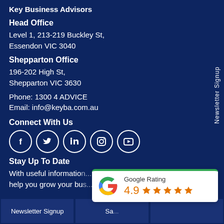Key Business Advisors
Head Office
Level 1, 213-219 Buckley St,
Essendon VIC 3040
Shepparton Office
196-202 High St,
Shepparton VIC 3630
Phone: 1300 4 ADVICE
Email: info@keyba.com.au
Connect With Us
[Figure (infographic): Five social media icons: Facebook, Twitter, LinkedIn, Instagram, YouTube — white circles with white icons on dark blue background]
Stay Up To Date
With useful information... and help you grow your bus...
[Figure (infographic): Google Rating widget showing 4.9 stars with Google G logo and orange star icons]
Newsletter Signup
Sa...